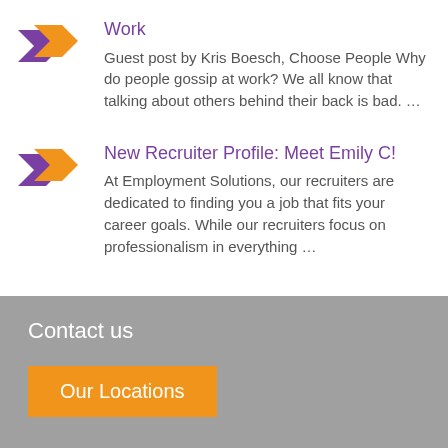[Figure (logo): Two overlapping arrow chevrons, one purple and one orange, pointing right]
Work
Guest post by Kris Boesch, Choose People Why do people gossip at work? We all know that talking about others behind their back is bad. …
[Figure (logo): Two overlapping arrow chevrons, one purple and one orange, pointing right]
New Recruiter Profile: Meet Emily C!
At Employment Solutions, our recruiters are dedicated to finding you a job that fits your career goals. While our recruiters focus on professionalism in everything …
Contact us
Our Locations